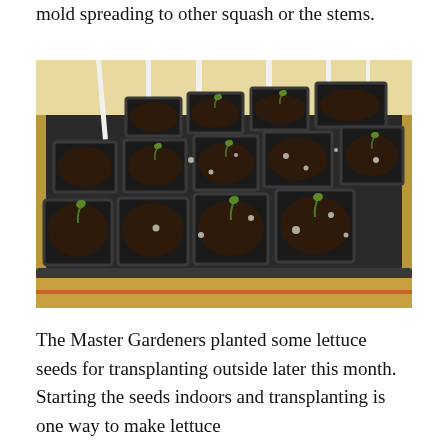mold spreading to other squash or the stems.
[Figure (photo): A seed starting tray filled with dark soil and small seedling sprouts, viewed at an angle. The black plastic tray has multiple cells, some with tiny green sprouts emerging. Several white plant markers/stakes are visible in the background. The tray sits on a light-colored surface.]
The Master Gardeners planted some lettuce seeds for transplanting outside later this month. Starting the seeds indoors and transplanting is one way to make lettuce